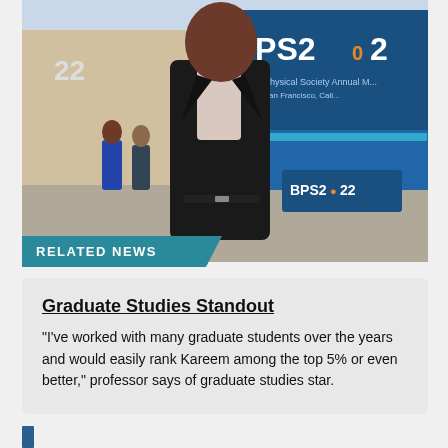[Figure (photo): A young man in a black suit and light pink shirt standing at what appears to be the BPS 2022 (66th Biophysical Society Annual Meeting) conference in San Francisco, California. Conference signage and registration area visible in background.]
RELATED NEWS
Graduate Studies Standout
"I've worked with many graduate students over the years and would easily rank Kareem among the top 5% or even better," professor says of graduate studies star.